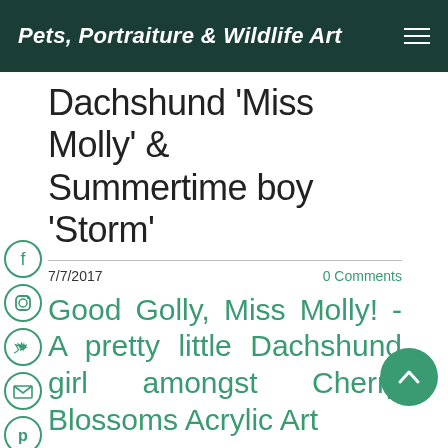Pets, Portraiture & Wildlife Art
Dachshund 'Miss Molly' & Summertime boy 'Storm'
7/7/2017   0 Comments
Good Golly, Miss Molly! - A pretty little Dachshund girl amongst Cherry Blossoms Acrylic Art
between Commissions, I will pick the paintbrushes up and work on a Non-Commission portrait. The f... is a gorgeous little Black Dachshund dressed up for her photo op in the Cherry Blossoms which I thought would make a stunning painting, and after Molly's Mum gave...